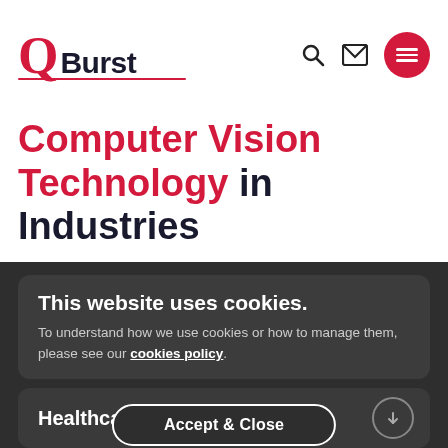[Figure (logo): QBurst logo with red Q, dark Burst text, and red underline]
Computer Vision Technology in Industries
This website uses cookies.
To understand how we use cookies or how to manage them, please see our cookies policy.
Computer Vision in Retail
Accept & Close
Healthcare Applications